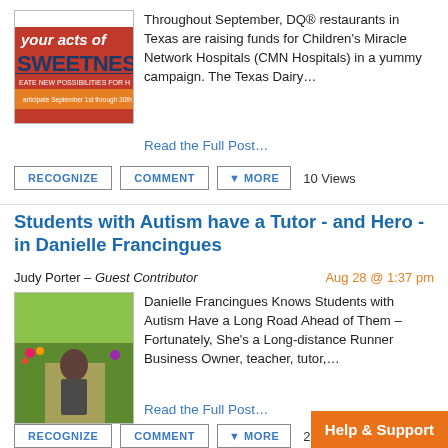Throughout September, DQ® restaurants in Texas are raising funds for Children's Miracle Network Hospitals (CMN Hospitals) in a yummy campaign. The Texas Dairy…
Read the Full Post…
RECOGNIZE  COMMENT  MORE  10 Views
Students with Autism have a Tutor - and Hero - in Danielle Francingues
Judy Porter – Guest Contributor
Aug 28 @ 1:37 pm
Danielle Francingues Knows Students with Autism Have a Long Road Ahead of Them – Fortunately, She's a Long-distance Runner Business Owner, teacher, tutor,…
Read the Full Post…
RECOGNIZE  COMMENT  MORE  29 Views
Help & Support